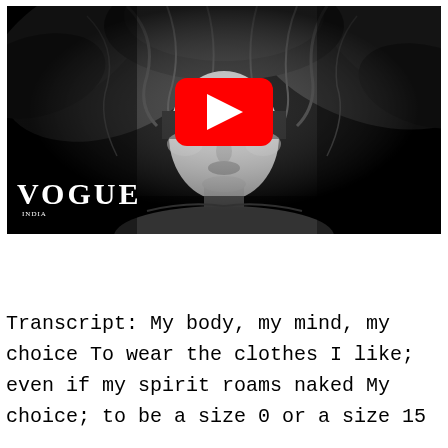[Figure (screenshot): Black and white Vogue video thumbnail showing a woman with wild flowing hair covering her eyes, dramatic lighting, with a YouTube play button overlay and VOGUE text in bottom left.]
Transcript: My body, my mind, my choice To wear the clothes I like; even if my spirit roams naked My choice; to be a size 0 or a size 15